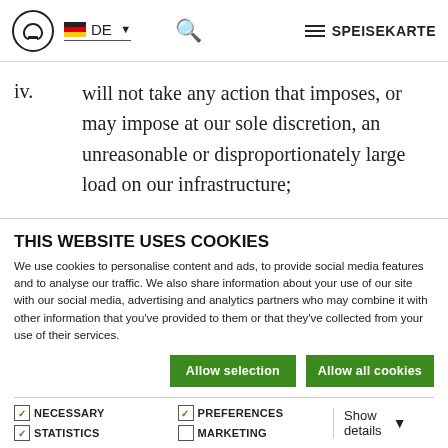DE SPEISEKARTE
security, or decipher any transmissions to or from the servers running the Platform or the Service;
iv.   will not take any action that imposes, or may impose at our sole discretion, an unreasonable or disproportionately large load on our infrastructure;
v.   will not upload invalid data, viruses, worms or other software agents through the
THIS WEBSITE USES COOKIES
We use cookies to personalise content and ads, to provide social media features and to analyse our traffic. We also share information about your use of our site with our social media, advertising and analytics partners who may combine it with other information that you've provided to them or that they've collected from your use of their services.
Allow selection   Allow all cookies
NECESSARY   PREFERENCES   STATISTICS   MARKETING   Show details